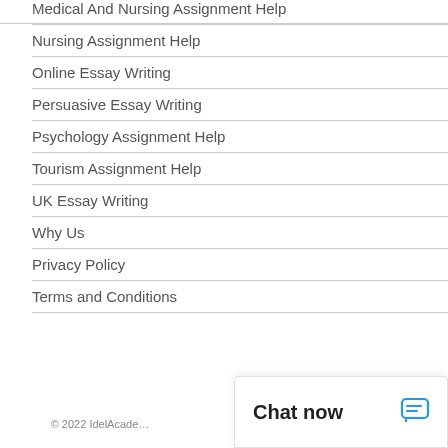Medical And Nursing Assignment Help
Nursing Assignment Help
Online Essay Writing
Persuasive Essay Writing
Psychology Assignment Help
Tourism Assignment Help
UK Essay Writing
Why Us
Privacy Policy
Terms and Conditions
© 2022 IdelAcade…
Chat now